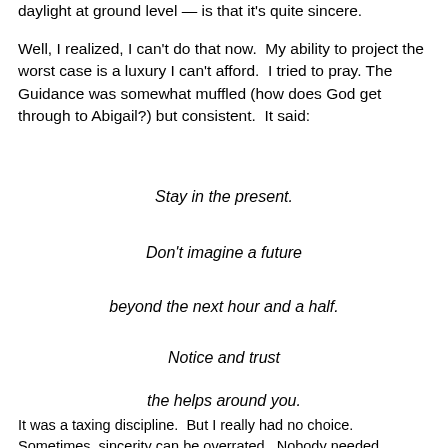daylight at ground level — is that it's quite sincere.
Well, I realized, I can't do that now.  My ability to project the worst case is a luxury I can't afford.  I tried to pray. The Guidance was somewhat muffled (how does God get through to Abigail?) but consistent.  It said:
Stay in the present.
Don't imagine a future
beyond the next hour and a half.
Notice and trust
the helps around you.
It was a taxing discipline.  But I really had no choice.  Sometimes, sincerity can be overrated.  Nobody needed